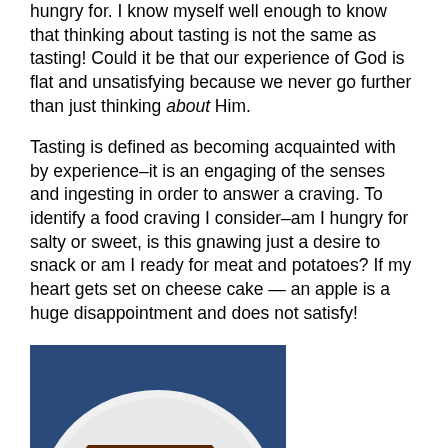hungry for. I know myself well enough to know that thinking about tasting is not the same as tasting! Could it be that our experience of God is flat and unsatisfying because we never go further than just thinking about Him.
Tasting is defined as becoming acquainted with by experience–it is an engaging of the senses and ingesting in order to answer a craving. To identify a food craving I consider–am I hungry for salty or sweet, is this gnawing just a desire to snack or am I ready for meat and potatoes? If my heart gets set on cheese cake — an apple is a huge disappointment and does not satisfy!
[Figure (photo): A slice of cheesecake with chocolate topping on a white plate, garnished with red strawberry fan and chocolate sauce decorations, on a blue-rimmed plate.]